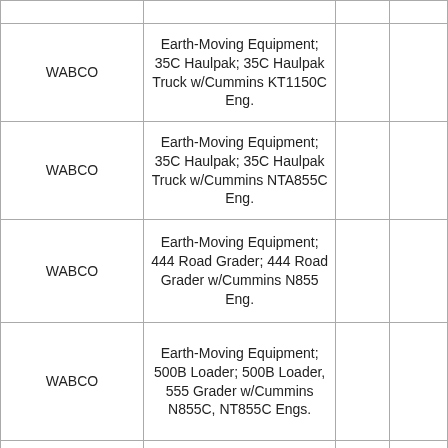| WABCO | Earth-Moving Equipment; 35C Haulpak; 35C Haulpak Truck w/Cummins KT1150C Eng. |  |  |
| WABCO | Earth-Moving Equipment; 35C Haulpak; 35C Haulpak Truck w/Cummins NTA855C Eng. |  |  |
| WABCO | Earth-Moving Equipment; 444 Road Grader; 444 Road Grader w/Cummins N855 Eng. |  |  |
| WABCO | Earth-Moving Equipment; 500B Loader; 500B Loader, 555 Grader w/Cummins N855C, NT855C Engs. |  |  |
| WABCO | Earth-Moving Equipment; 555 Grader; 500B Loader, 555 Grader w/Cummins N855C, NT855C Engs. |  |  |